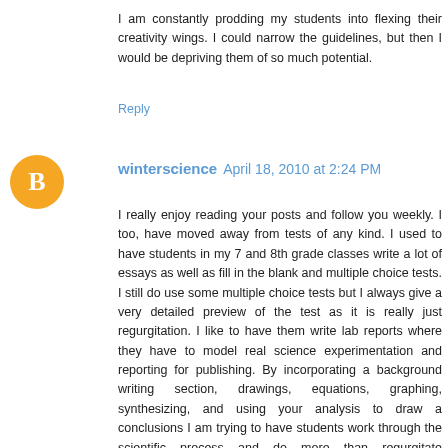I am constantly prodding my students into flexing their creativity wings. I could narrow the guidelines, but then I would be depriving them of so much potential.
Reply
[Figure (illustration): Orange circle avatar with white blogger 'B' icon]
winterscience April 18, 2010 at 2:24 PM
I really enjoy reading your posts and follow you weekly. I too, have moved away from tests of any kind. I used to have students in my 7 and 8th grade classes write a lot of essays as well as fill in the blank and multiple choice tests. I still do use some multiple choice tests but I always give a very detailed preview of the test as it is really just regurgitation. I like to have them write lab reports where they have to model real science experimentation and reporting for publishing. By incorporating a background writing section, drawings, equations, graphing, synthesizing, and using your analysis to draw a conclusions I am trying to have students work through the scientific process and do more than regurgitate memorized information that they can Google later in life when they